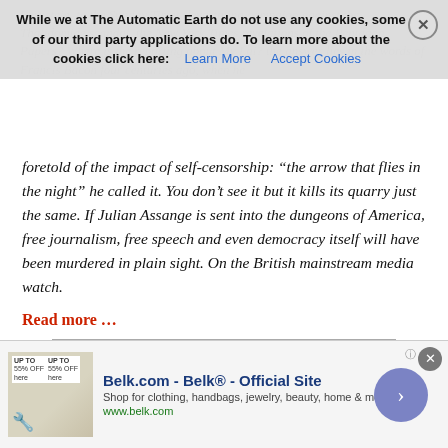Bernstein, to the Sunday Times devastating campaign against the Thalidomide scandal, the New York Times revelations of the Pentagon Papers? Where is the reporting about My Lai? the answer lies in the words of Francis Bacon four centuries ago, when he
foretold of the impact of self-censorship: “the arrow that flies in the night” he called it. You don’t see it but it kills its quarry just the same. If Julian Assange is sent into the dungeons of America, free journalism, free speech and even democracy itself will have been murdered in plain sight. On the British mainstream media watch.
Read more …
“Fitzgerald responded that Assange didn’t only seek to change US government policy, but that he succeeded.”
Julian Assange Leaked US Files For Political Ends – Lawyers (G.)
[Figure (other): Advertisement banner for Belk.com - Belk® - Official Site. Shows product image on left, ad text 'Shop for clothing, handbags, jewelry, beauty, home & more!' and URL www.belk.com. Has close button and arrow button on right.]